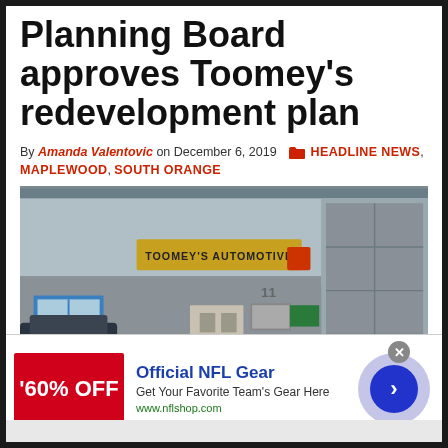Planning Board approves Toomey's redevelopment plan
By Amanda Valentovic on December 6, 2019  HEADLINE NEWS, MAPLEWOOD, SOUTH ORANGE
[Figure (photo): Exterior photo of Toomey's Automotive building, a gray industrial structure with a sign reading TOOMEY'S AUTOMOTIVE, blue-framed windows, a central door, and a large garage bay on the right.]
[Figure (screenshot): Advertisement banner: 60% OFF - Official NFL Gear. Get Your Favorite Team's Gear Here. www.nflshop.com with a blue arrow button.]